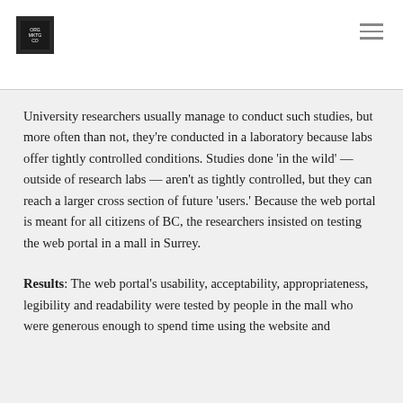University researchers usually manage to conduct such studies, but more often than not, they're conducted in a laboratory because labs offer tightly controlled conditions. Studies done 'in the wild' — outside of research labs — aren't as tightly controlled, but they can reach a larger cross section of future 'users.' Because the web portal is meant for all citizens of BC, the researchers insisted on testing the web portal in a mall in Surrey.
Results: The web portal's usability, acceptability, appropriateness, legibility and readability were tested by people in the mall who were generous enough to spend time using the website and